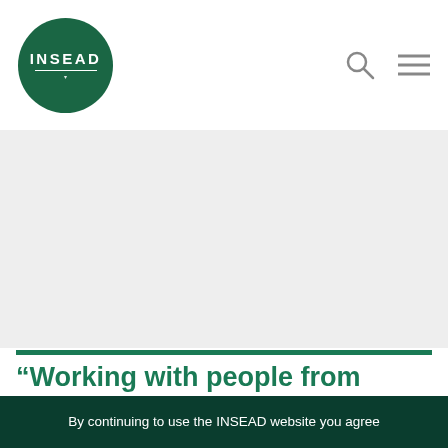[Figure (logo): INSEAD logo: dark green circle with white text 'INSEAD' and decorative underline]
[Figure (illustration): Navigation icons: search (magnifying glass) and hamburger menu on white background]
[Figure (photo): Hero image area (white/light grey placeholder)]
“Working with people from different backgrounds and cultures teaches us empathy, which is a paramount for...
By continuing to use the INSEAD website you agree